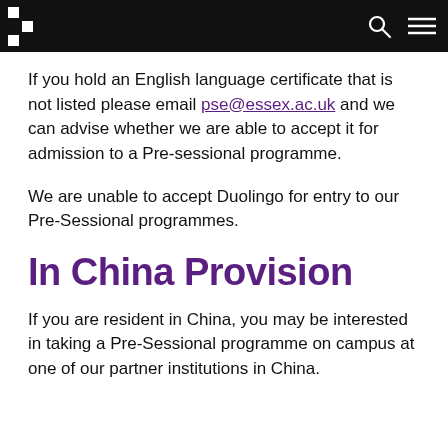University of Essex navigation header
If you hold an English language certificate that is not listed please email pse@essex.ac.uk and we can advise whether we are able to accept it for admission to a Pre-sessional programme.
We are unable to accept Duolingo for entry to our Pre-Sessional programmes.
In China Provision
If you are resident in China, you may be interested in taking a Pre-Sessional programme on campus at one of our partner institutions in China.